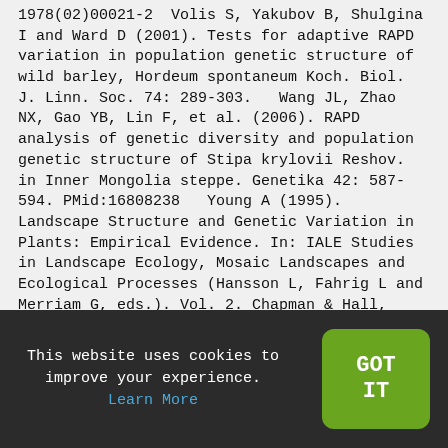1978(02)00021-2  Volis S, Yakubov B, Shulgina I and Ward D (2001). Tests for adaptive RAPD variation in population genetic structure of wild barley, Hordeum spontaneum Koch. Biol. J. Linn. Soc. 74: 289-303.  Wang JL, Zhao NX, Gao YB, Lin F, et al. (2006). RAPD analysis of genetic diversity and population genetic structure of Stipa krylovii Reshov. in Inner Mongolia steppe. Genetika 42: 587-594. PMid:16808238  Young A (1995). Landscape Structure and Genetic Variation in Plants: Empirical Evidence. In: IALE Studies in Landscape Ecology, Mosaic Landscapes and Ecological Processes (Hansson L, Fahrig L and Merriam G, eds.). Vol. 2. Chapman & Hall, London, 153-177. http://dx.doi.org/10.1007/978-94-011-0717-4_7  Zhang H, Li X, Jiang FH and Lin GH (2005). Effects of different water supply on the reproduction of Stipa krylovii and Artemisia
This website uses cookies to improve your experience. Learn More
GOT IT